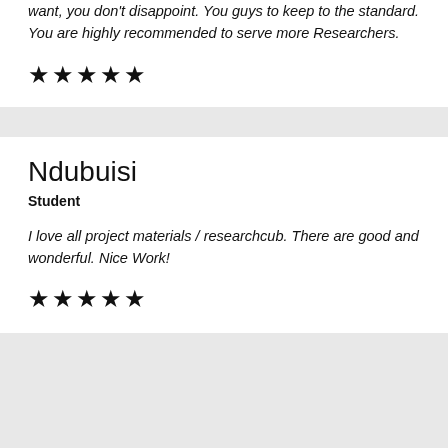want, you don't disappoint. You guys to keep to the standard. You are highly recommended to serve more Researchers.
★★★★★
Ndubuisi
Student
I love all project materials / researchcub. There are good and wonderful. Nice Work!
★★★★★